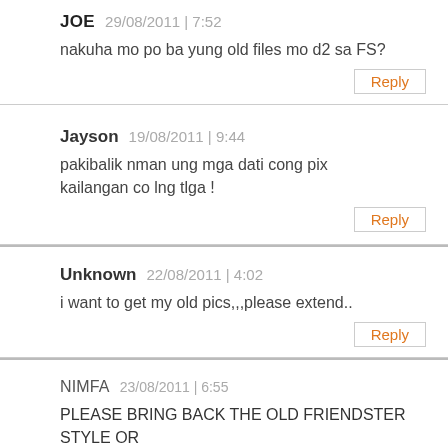JOE  29/08/2011 | 7:52
nakuha mo po ba yung old files mo d2 sa FS?
Reply
Jayson  19/08/2011 | 9:44
pakibalik nman ung mga dati cong pix kailangan co lng tlga !
Reply
Unknown  22/08/2011 | 4:02
i want to get my old pics,,,please extend..
Reply
NIMFA  23/08/2011 | 6:55
PLEASE BRING BACK THE OLD FRIENDSTER STYLE OR